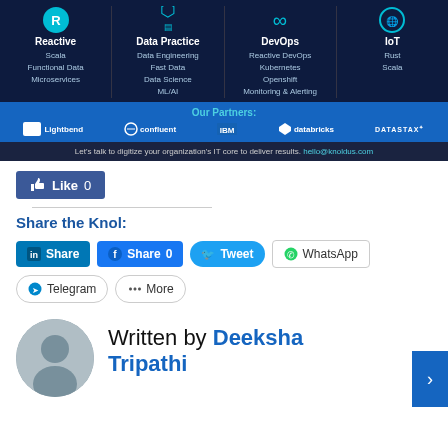[Figure (infographic): Dark navy banner showing four service columns: Reactive (Scala, Functional Data, Microservices), Data Practice (Data Engineering, Fast Data, Data Science, ML/AI), DevOps (Reactive DevOps, Kubernetes, Openshift, Monitoring & Alerting), IoT (Rust, Scala). Below is a blue partners bar with logos: Lightbend, confluent, IBM, databricks, DATASTAX. Footer: Let's talk to digitize your organization's IT core to deliver results. hello@knoldus.com]
[Figure (screenshot): Facebook Like button showing Like 0]
Share the Knol:
[Figure (screenshot): Social share buttons: LinkedIn Share, Facebook Share 0, Twitter Tweet, WhatsApp, Telegram, More]
Written by Deeksha Tripathi